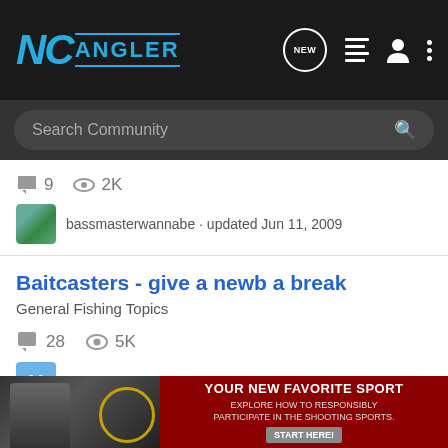NC Angler - community forum header with search bar
9  2K
bassmasterwannabe · updated Jun 11, 2009
Baitcasters - give a newb a break
General Fishing Topics
28  5K
Vahunter1819 · updated Apr 13, 2012
Soft Plastics and Bite Detection
Freshwater Fishing
11
[Figure (photo): Advertisement banner: YOUR NEW FAVORITE SPORT - EXPLORE HOW TO RESPONSIBLY PARTICIPATE IN THE SHOOTING SPORTS. START HERE!]